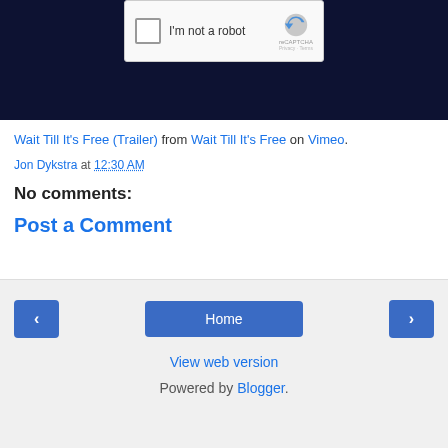[Figure (screenshot): reCAPTCHA widget on dark background showing checkbox 'I'm not a robot']
Wait Till It's Free (Trailer) from Wait Till It's Free on Vimeo.
Jon Dykstra at 12:30 AM
No comments:
Post a Comment
Home | View web version | Powered by Blogger.